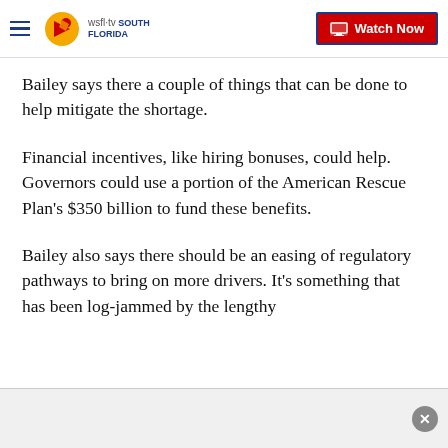WSFL-TV South Florida | Watch Now
Bailey says there a couple of things that can be done to help mitigate the shortage.
Financial incentives, like hiring bonuses, could help. Governors could use a portion of the American Rescue Plan's $350 billion to fund these benefits.
Bailey also says there should be an easing of regulatory pathways to bring on more drivers. It's something that has been log-jammed by the lengthy